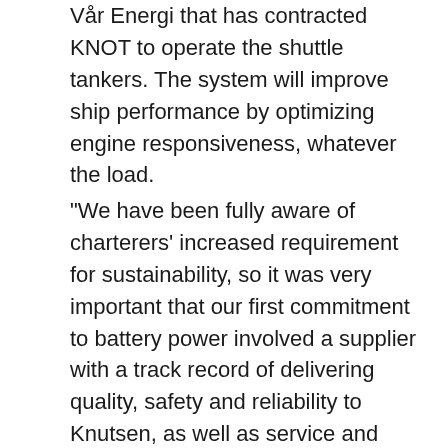Vår Energi that has contracted KNOT to operate the shuttle tankers. The system will improve ship performance by optimizing engine responsiveness, whatever the load.
“We have been fully aware of charterers’ increased requirement for sustainability, so it was very important that our first commitment to battery power involved a supplier with a track record of delivering quality, safety and reliability to Knutsen, as well as service and remote expert support,” said Tom Knutsen, Project manager at KNOT. “ABB has significant experience in shipboard energy storage systems, and we are pleased that, on top of cutting emissions, this technology will also reduce OPEX.”